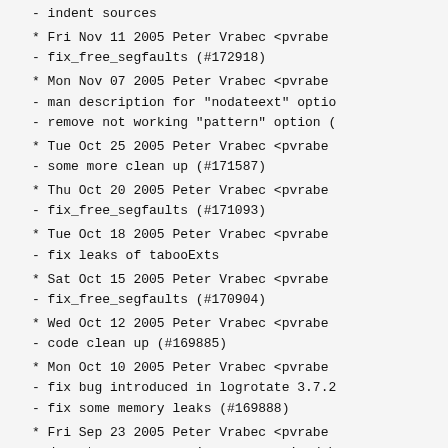- indent sources
* Fri Nov 11 2005 Peter Vrabec <pvrabe
- fix_free_segfaults (#172918)
* Mon Nov 07 2005 Peter Vrabec <pvrabe
- man description for "nodateext" optio
- remove not working "pattern" option (
* Tue Oct 25 2005 Peter Vrabec <pvrabe
- some more clean up (#171587)
* Thu Oct 20 2005 Peter Vrabec <pvrabe
- fix_free_segfaults (#171093)
* Tue Oct 18 2005 Peter Vrabec <pvrabe
- fix leaks of tabooExts
* Sat Oct 15 2005 Peter Vrabec <pvrabe
- fix_free_segfaults (#170904)
* Wed Oct 12 2005 Peter Vrabec <pvrabe
- code clean up (#169885)
* Mon Oct 10 2005 Peter Vrabec <pvrabe
- fix bug introduced in logrotate 3.7.2
- fix some memory leaks (#169888)
* Fri Sep 23 2005 Peter Vrabec <pvrabe
- do not run compression program in deb